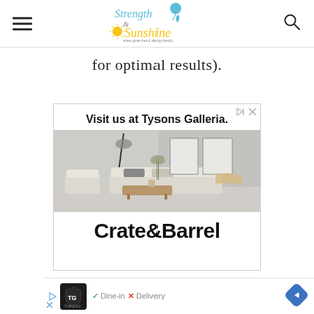Strength & Sunshine — where gluten-free & allergy-friendly cooking is healthy & delicious
for optimal results).
[Figure (screenshot): Crate & Barrel advertisement showing living room furniture with text 'Visit us at Tysons Galleria.' and Crate&Barrel logo]
[Figure (screenshot): Topgolf advertisement bar showing Dine-in and Delivery options with navigation icon]